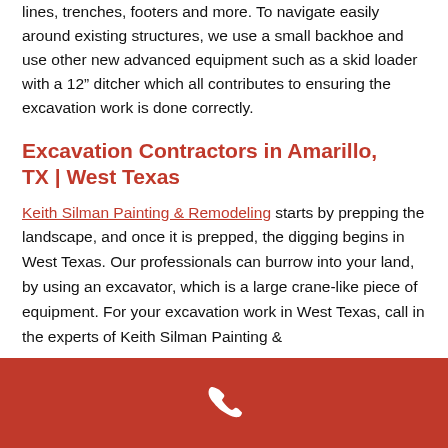Silman Painting & Remodeling will dig your sewer, water lines, trenches, footers and more. To navigate easily around existing structures, we use a small backhoe and use other new advanced equipment such as a skid loader with a 12" ditcher which all contributes to ensuring the excavation work is done correctly.
Excavation Contractors in Amarillo, TX | West Texas
Keith Silman Painting & Remodeling starts by prepping the landscape, and once it is prepped, the digging begins in West Texas. Our professionals can burrow into your land, by using an excavator, which is a large crane-like piece of equipment. For your excavation work in West Texas, call in the experts of Keith Silman Painting &
[Figure (other): Red footer bar with white phone icon]